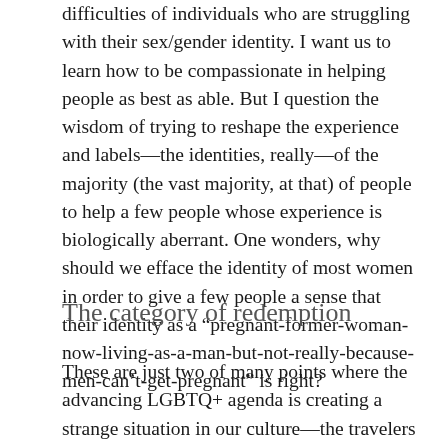difficulties of individuals who are struggling with their sex/gender identity. I want us to learn how to be compassionate in helping people as best as able. But I question the wisdom of trying to reshape the experience and labels—the identities, really—of the majority (the vast majority, at that) of people to help a few people whose experience is biologically aberrant. One wonders, why should we efface the identity of most women in order to give a few people a sense that their identity as a “pregnant-former-woman-now-living-as-a-man-but-not-really-because-men-can’t-get-pregnant” is right?
The category of redemption
These are just two of many points where the advancing LGBTQ+ agenda is creating a strange situation in our culture—the travelers are carrying the donkey, as it were.